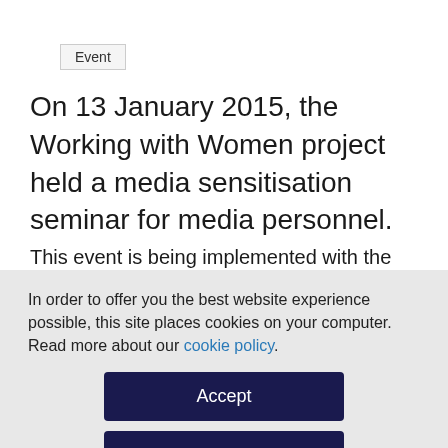Event
On 13 January 2015, the Working with Women project held a media sensitisation seminar for media personnel.
This event is b...
In order to offer you the best website experience possible, this site places cookies on your computer. Read more about our cookie policy.
Accept
Decline